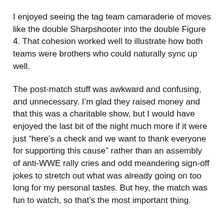I enjoyed seeing the tag team camaraderie of moves like the double Sharpshooter into the double Figure 4. That cohesion worked well to illustrate how both teams were brothers who could naturally sync up well.
The post-match stuff was awkward and confusing, and unnecessary. I'm glad they raised money and that this was a charitable show, but I would have enjoyed the last bit of the night much more if it were just “here's a check and we want to thank everyone for supporting this cause” rather than an assembly of anti-WWE rally cries and odd meandering sign-off jokes to stretch out what was already going on too long for my personal tastes. But hey, the match was fun to watch, so that's the most important thing.